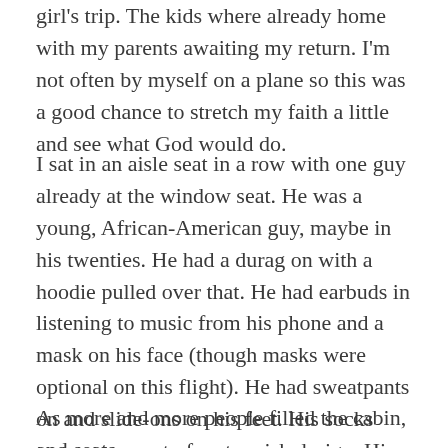girl's trip. The kids where already home with my parents awaiting my return. I'm not often by myself on a plane so this was a good chance to stretch my faith a little and see what God would do.
I sat in an aisle seat in a row with one guy already at the window seat. He was a young, African-American guy, maybe in his twenties. He had a durag on with a hoodie pulled over that. He had earbuds in listening to music from his phone and a mask on his face (though masks were optional on this flight). He had sweatpants on and slide-ons on his feet. His socks were some sort of cartoonish design. His posture gave the over all message, "Leave me alone."
As more and more people filled the cabin, and seats were coming close (this was a Southwest flight where